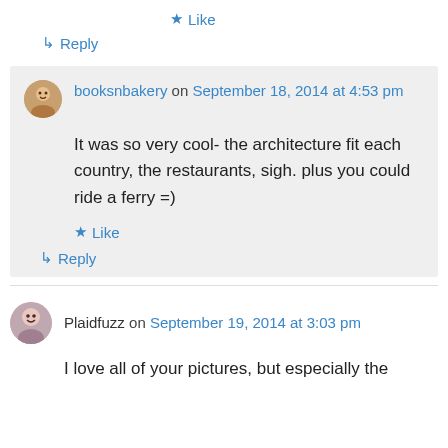★ Like
↳ Reply
booksnbakery on September 18, 2014 at 4:53 pm
It was so very cool- the architecture fit each country, the restaurants, sigh. plus you could ride a ferry =)
★ Like
↳ Reply
Plaidfuzz on September 19, 2014 at 3:03 pm
I love all of your pictures, but especially the